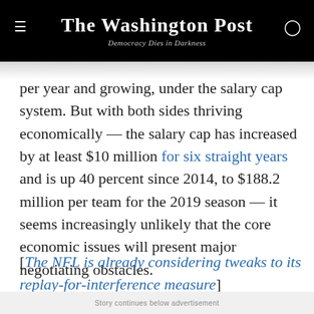The Washington Post — Democracy Dies in Darkness
per year and growing, under the salary cap system. But with both sides thriving economically — the salary cap has increased by at least $10 million for six straight years and is up 40 percent since 2014, to $188.2 million per team for the 2019 season — it seems increasingly unlikely that the core economic issues will present major negotiating obstacles.
[The NFL is already considering tweaks to its replay-for-interference measure]
On other issues, there could be a series of trade-offs.
Story continues below advertisement